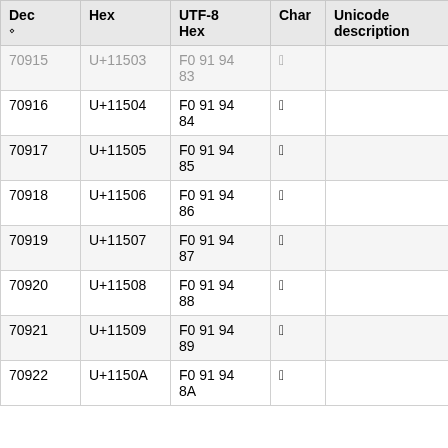| Dec ⬦ | Hex | UTF-8 Hex | Char | Unicode description |
| --- | --- | --- | --- | --- |
| 70915 | U+11503 | F0 91 94 83 | 𑕃 |  |
| 70916 | U+11504 | F0 91 94 84 | 𑕄 |  |
| 70917 | U+11505 | F0 91 94 85 | 𑕅 |  |
| 70918 | U+11506 | F0 91 94 86 | 𑕆 |  |
| 70919 | U+11507 | F0 91 94 87 | 𑕇 |  |
| 70920 | U+11508 | F0 91 94 88 | 𑕈 |  |
| 70921 | U+11509 | F0 91 94 89 | 𑕉 |  |
| 70922 | U+1150A | F0 91 94 8A | 𑕊 |  |